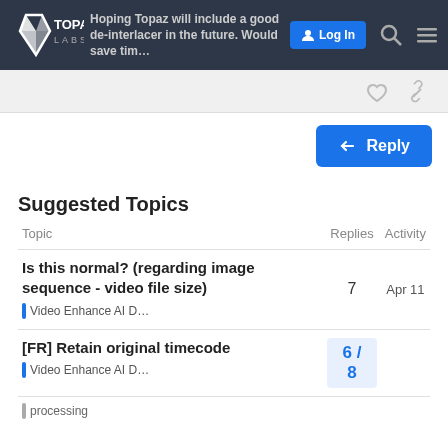Hoping Topaz will include a good de-interlacer in the future. Would save tim...
Log In
Reply
Suggested Topics
| Topic | Replies | Activity |
| --- | --- | --- |
| Is this normal? (regarding image sequence - video file size)
Video Enhance AI D... | 7 | Apr 11 |
| [FR] Retain original timecode
Video Enhance AI D...
processing | 6 / 8 |  |